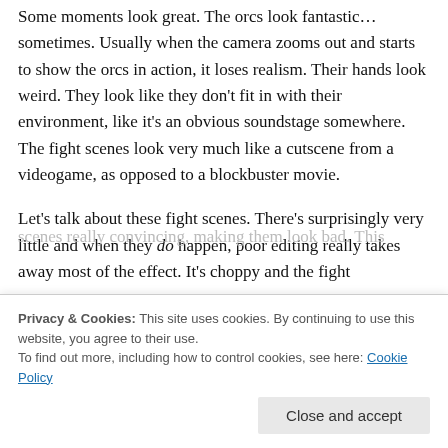Some moments look great. The orcs look fantastic… sometimes. Usually when the camera zooms out and starts to show the orcs in action, it loses realism. Their hands look weird. They look like they don't fit in with their environment, like it's an obvious soundstage somewhere. The fight scenes look very much like a cutscene from a videogame, as opposed to a blockbuster movie.
Let's talk about these fight scenes. There's surprisingly very little and when they do happen, poor editing really takes away most of the effect. It's choppy and the fight
In general, the editing is really bad. The movie jumps from
Privacy & Cookies: This site uses cookies. By continuing to use this website, you agree to their use. To find out more, including how to control cookies, see here: Cookie Policy